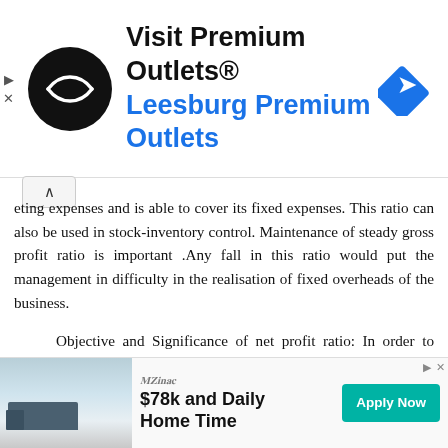[Figure (other): Top advertisement banner: Visit Premium Outlets® / Leesburg Premium Outlets with circular black logo and blue diamond navigation icon]
...eting expenses and is able to cover its fixed expenses. This ratio can also be used in stock-inventory control. Maintenance of steady gross profit ratio is important .Any fall in this ratio would put the management in difficulty in the realisation of fixed overheads of the business.
Objective and Significance of net profit ratio: In order to work out overall efficiency of the concern Net Profit ratio is calculated. This ratio is helpful to determine the operational ability of the concern. While comparing the ratio to previous years' ratios, the increment shows the efficiency of th... concern.
[Figure (other): Bottom advertisement banner: $78k and Daily Home Time – Apply Now button, with winter road photo and Trimac brand logo]